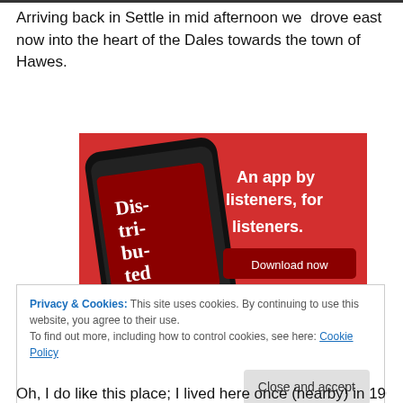Arriving back in Settle in mid afternoon we  drove east now into the heart of the Dales towards the town of Hawes.
[Figure (screenshot): Advertisement banner showing a red background with a smartphone displaying a podcast app. Text reads 'An app by listeners, for listeners.' with a 'Download now' button. The podcast shown is titled 'Dis-tri-bu-ted'.]
Privacy & Cookies: This site uses cookies. By continuing to use this website, you agree to their use.
To find out more, including how to control cookies, see here: Cookie Policy
Close and accept
Oh, I do like this place; I lived here once (nearby) in 196...